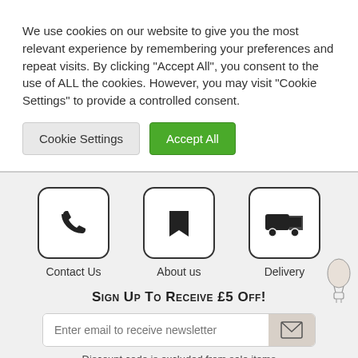We use cookies on our website to give you the most relevant experience by remembering your preferences and repeat visits. By clicking “Accept All”, you consent to the use of ALL the cookies. However, you may visit "Cookie Settings" to provide a controlled consent.
Cookie Settings
Accept All
[Figure (infographic): Three icon buttons: phone (Contact Us), bookmark (About us), delivery truck (Delivery)]
Sign Up To Receive £5 Off!
Enter email to receive newsletter
Discount code is excluded from sale items
[Figure (illustration): Row of coloured semicircles at the bottom edge in teal, coral, pink, orange/yellow, khaki colours]